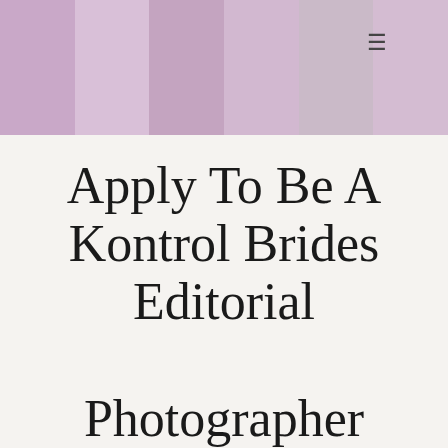[Figure (photo): Purple/mauve colored wedding dress fabric strips arranged side by side, filling the top banner area of the page. A hamburger menu icon is visible in the upper right area.]
Apply To Be A Kontrol Brides Editorial Photographer
We are accepting editorial photographers located in the select areas. Atlanta, South Carolina, North Carolina, Miami, Houston, Dallas, New York, Los